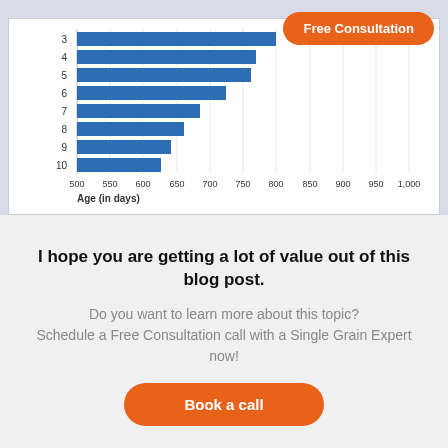[Figure (bar-chart): Age (in days)]
Free Consultation
I hope you are getting a lot of value out of this blog post.
Do you want to learn more about this topic? Schedule a Free Consultation call with a Single Grain Expert now!
Book a call